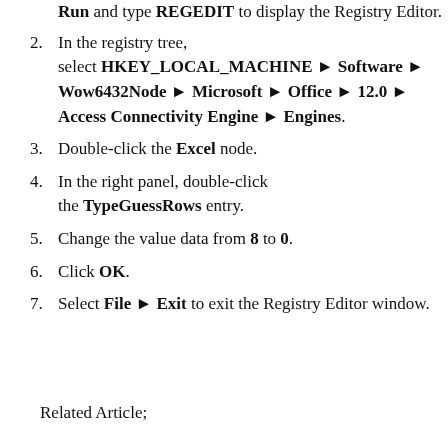Run and type REGEDIT to display the Registry Editor.
In the registry tree, select HKEY_LOCAL_MACHINE ▶ Software ▶ Wow6432Node ▶ Microsoft ▶ Office ▶ 12.0 ▶ Access Connectivity Engine ▶ Engines.
Double-click the Excel node.
In the right panel, double-click the TypeGuessRows entry.
Change the value data from 8 to 0.
Click OK.
Select File ▶ Exit to exit the Registry Editor window.
Related Article;